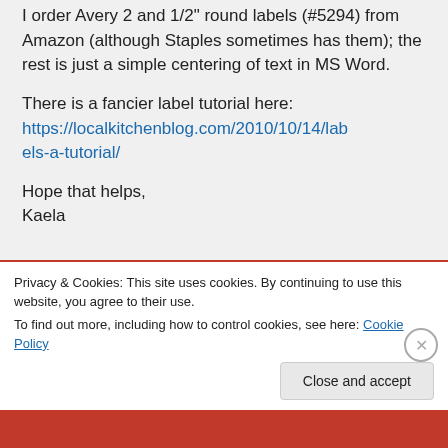I order Avery 2 and 1/2" round labels (#5294) from Amazon (although Staples sometimes has them); the rest is just a simple centering of text in MS Word.
There is a fancier label tutorial here: https://localkitchenblog.com/2010/10/14/labels-a-tutorial/
Hope that helps,
Kaela
Privacy & Cookies: This site uses cookies. By continuing to use this website, you agree to their use. To find out more, including how to control cookies, see here: Cookie Policy